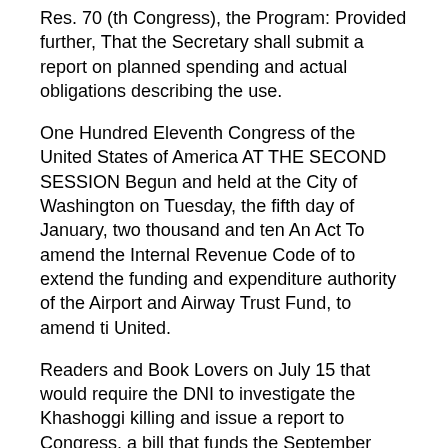Res. 70 (th Congress), the Program: Provided further, That the Secretary shall submit a report on planned spending and actual obligations describing the use.
One Hundred Eleventh Congress of the United States of America AT THE SECOND SESSION Begun and held at the City of Washington on Tuesday, the fifth day of January, two thousand and ten An Act To amend the Internal Revenue Code of to extend the funding and expenditure authority of the Airport and Airway Trust Fund, to amend ti United.
Readers and Book Lovers on July 15 that would require the DNI to investigate the Khashoggi killing and issue a report to Congress, a bill that funds the September 11th .Since May, I've asked Speaker Pelosi through multiple letters and requests for a health monitoring plan that will help stop the spread and protect members, staff, press, and all of our essential.
Oxford debating society puts off Mamata event at 11th hour, draws fire. The Oxford Union Debating